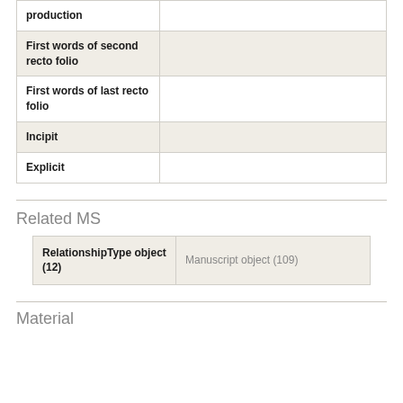| production |  |
| First words of second recto folio |  |
| First words of last recto folio |  |
| Incipit |  |
| Explicit |  |
Related MS
| RelationshipType object (12) | Manuscript object (109) |
| --- | --- |
Material